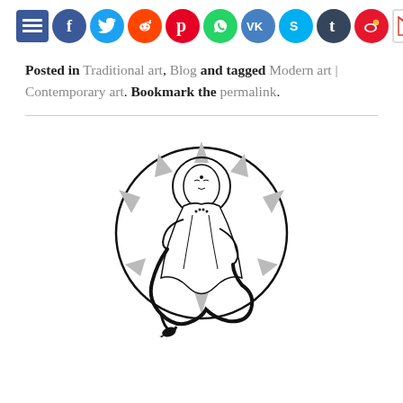[Figure (illustration): Row of social media sharing icons (Facebook, Twitter, Reddit, Pinterest, WhatsApp, VK, Skype, Tumblr, Weibo, Gmail) as colorful circles with white logos]
Posted in Traditional art, Blog and tagged Modern art | Contemporary art. Bookmark the permalink.
[Figure (illustration): Black and white line drawing of a Buddha-like figure in a mandala/halo circle with sun rays, holding a snake that coils at the bottom]